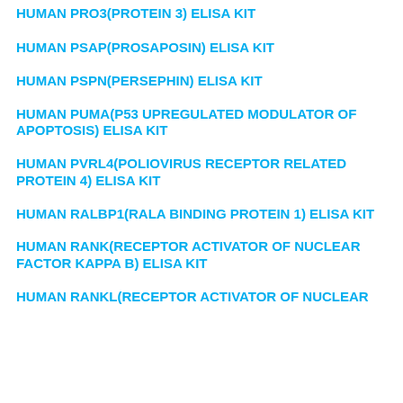HUMAN PRO3(PROTEIN 3) ELISA KIT
HUMAN PSAP(PROSAPOSIN) ELISA KIT
HUMAN PSPN(PERSEPHIN) ELISA KIT
HUMAN PUMA(P53 UPREGULATED MODULATOR OF APOPTOSIS) ELISA KIT
HUMAN PVRL4(POLIOVIRUS RECEPTOR RELATED PROTEIN 4) ELISA KIT
HUMAN RALBP1(RALA BINDING PROTEIN 1) ELISA KIT
HUMAN RANK(RECEPTOR ACTIVATOR OF NUCLEAR FACTOR KAPPA B) ELISA KIT
HUMAN RANKL(RECEPTOR ACTIVATOR OF NUCLEAR